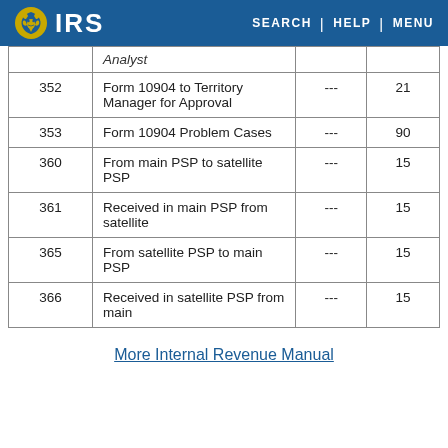IRS | SEARCH | HELP | MENU
|  |  |  |  |
| --- | --- | --- | --- |
|  | Analyst |  |  |
| 352 | Form 10904 to Territory Manager for Approval | --- | 21 |
| 353 | Form 10904 Problem Cases | --- | 90 |
| 360 | From main PSP to satellite PSP | --- | 15 |
| 361 | Received in main PSP from satellite | --- | 15 |
| 365 | From satellite PSP to main PSP | --- | 15 |
| 366 | Received in satellite PSP from main | --- | 15 |
More Internal Revenue Manual